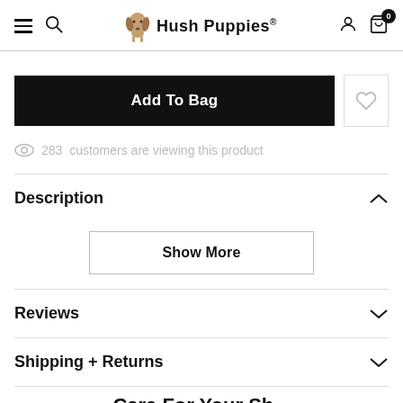Hush Puppies
Add To Bag
283  customers are viewing this product
Description
Show More
Reviews
Shipping + Returns
Care For Your Sh...